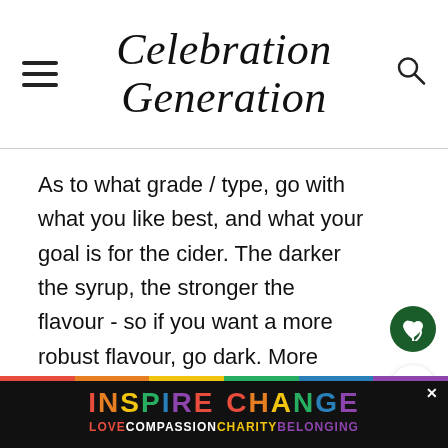Celebration Generation
As to what grade / type, go with what you like best, and what your goal is for the cider. The darker the syrup, the stronger the flavour - so if you want a more robust flavour, go dark. More subtle, go lighter.
SUGAR
While added sugar is technically optional to any
[Figure (infographic): WHAT'S NEXT arrow with Hard Apple Cider Recipe thumbnail]
[Figure (infographic): INSPIRE CHANGE advertisement banner with rainbow colors and LOVECOMPASSIONCHARITYBELONGING text]